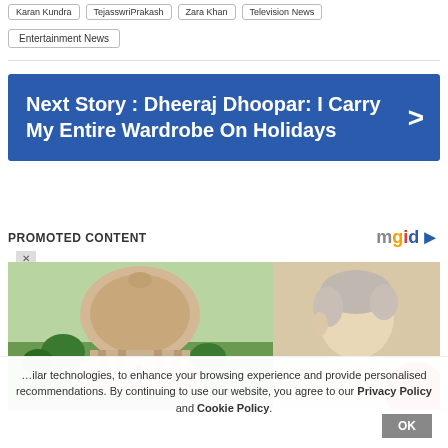Karan Kundra
TejasswriPrakash
Zara Khan
Television News
Entertainment News
Next Story : Dheeraj Dhoopar: I Carry My Entire Wardrobe On Holidays
PROMOTED CONTENT
[Figure (photo): Photo of Supreme Court of India building dome and a person (man with grey hair) side by side in a promotional content block]
...ilar technologies, to enhance your browsing experience and provide personalised recommendations. By continuing to use our website, you agree to our Privacy Policy and Cookie Policy.
OK